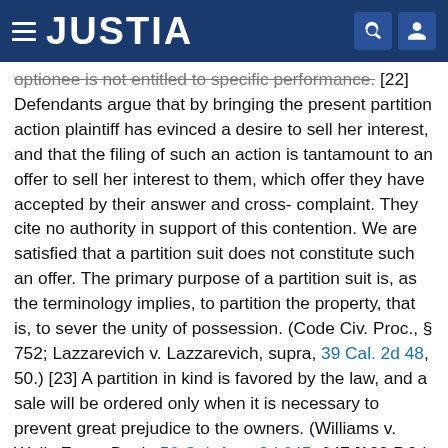JUSTIA
optionee is not entitled to specific performance. [22] Defendants argue that by bringing the present partition action plaintiff has evinced a desire to sell her interest, and that the filing of such an action is tantamount to an offer to sell her interest to them, which offer they have accepted by their answer and cross- complaint. They cite no authority in support of this contention. We are satisfied that a partition suit does not constitute such an offer. The primary purpose of a partition suit is, as the terminology implies, to partition the property, that is, to sever the unity of possession. (Code Civ. Proc., § 752; Lazzarevich v. Lazzarevich, supra, 39 Cal. 2d 48, 50.) [23] A partition in kind is favored by the law, and a sale will be ordered only when it is necessary to prevent great prejudice to the owners. (Williams v. Wells Fargo Bank, 56 Cal. App. 2d 645, 647 [133 P.2d 73].) [13b] Moreover, when a sale is ordered in a partition suit, it is a sale of